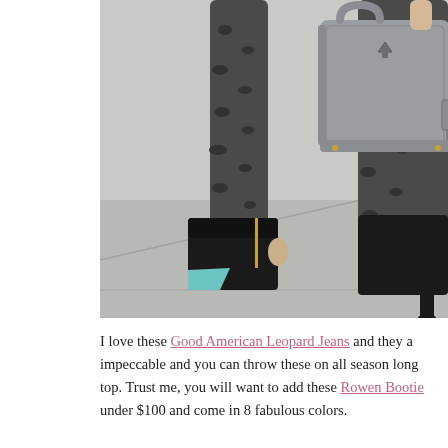[Figure (photo): Close-up street photo of a woman walking, showing leopard-print jeans, black peep-toe booties with a teal heel accent, and a grey Prada tote bag carried on the arm. Shot from the waist down on a concrete sidewalk.]
I love these Good American Leopard Jeans and they a impeccable and you can throw these on all season long top. Trust me, you will want to add these Rowen Bootie under $100 and come in 8 fabulous colors.